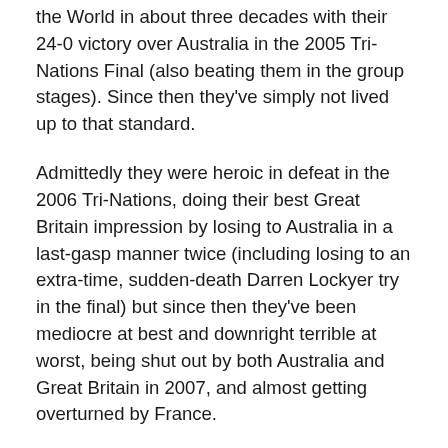the World in about three decades with their 24-0 victory over Australia in the 2005 Tri-Nations Final (also beating them in the group stages). Since then they've simply not lived up to that standard.
Admittedly they were heroic in defeat in the 2006 Tri-Nations, doing their best Great Britain impression by losing to Australia in a last-gasp manner twice (including losing to an extra-time, sudden-death Darren Lockyer try in the final) but since then they've been mediocre at best and downright terrible at worst, being shut out by both Australia and Great Britain in 2007, and almost getting overturned by France.
However, they have also been without several key players for many of those games and there should be a greater talent level in the squad of this World Cup. If the New